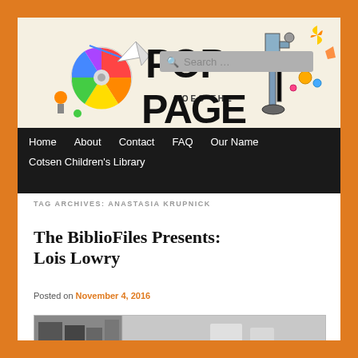[Figure (illustration): Pop Goes the Page blog header illustration with colorful cartoon objects including a CD, paper airplane, robots, and mechanical items on a cream background. Large bold text reads 'POP GOES THE PAGE'.]
Home   About   Contact   FAQ   Our Name   Cotsen Children's Library
TAG ARCHIVES: ANASTASIA KRUPNICK
The BiblioFiles Presents: Lois Lowry
Posted on November 4, 2016
[Figure (photo): Partial black and white photo at bottom of page, partially cut off]